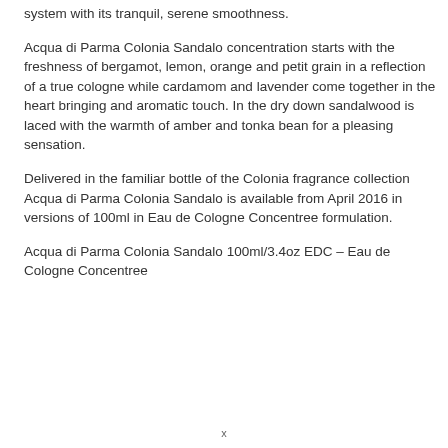system with its tranquil, serene smoothness.
Acqua di Parma Colonia Sandalo concentration starts with the freshness of bergamot, lemon, orange and petit grain in a reflection of a true cologne while cardamom and lavender come together in the heart bringing and aromatic touch. In the dry down sandalwood is laced with the warmth of amber and tonka bean for a pleasing sensation.
Delivered in the familiar bottle of the Colonia fragrance collection Acqua di Parma Colonia Sandalo is available from April 2016 in versions of 100ml in Eau de Cologne Concentree formulation.
Acqua di Parma Colonia Sandalo 100ml/3.4oz EDC – Eau de Cologne Concentree
x